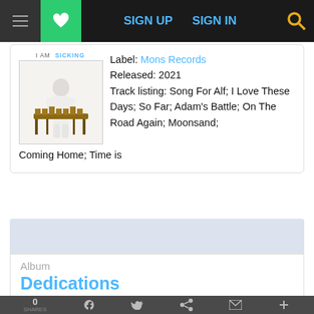SIGN UP  SIGN IN
[Figure (photo): Album cover for 'I AM SICKING' showing a person in white outfit next to a marimba instrument on white background]
Label: Mons Records
Released: 2021
Track listing: Song For Alf; I Love These Days; So Far; Adam's Battle; On The Road Again; Moonsand; Coming Home; Time is
Album
Dedications
Aruba violin
0 SHARES